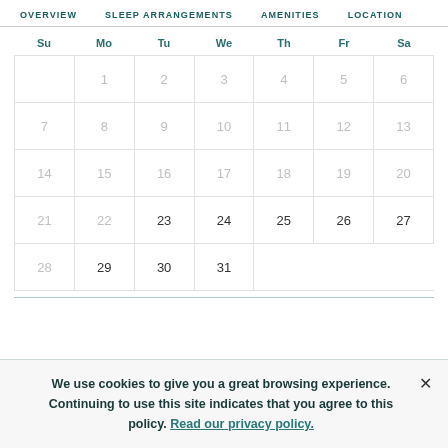OVERVIEW    SLEEP ARRANGEMENTS    AMENITIES    LOCATION
| Su | Mo | Tu | We | Th | Fr | Sa |
| --- | --- | --- | --- | --- | --- | --- |
|  | 1 | 2 | 3 | 4 | 5 | 6 |
| 7 | 8 | 9 | 10 | 11 | 12 | 13 |
| 14 | 15 | 16 | 17 | 18 | 19 | 20 |
| 21 | 22 | 23 | 24 | 25 | 26 | 27 |
| 28 | 29 | 30 | 31 |  |  |  |
We use cookies to give you a great browsing experience. Continuing to use this site indicates that you agree to this policy. Read our privacy policy.